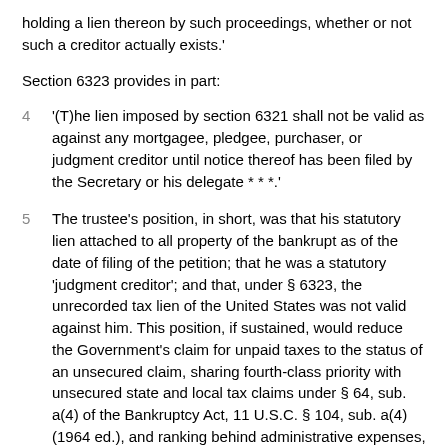holding a lien thereon by such proceedings, whether or not such a creditor actually exists.'
Section 6323 provides in part:
'(T)he lien imposed by section 6321 shall not be valid as against any mortgagee, pledgee, purchaser, or judgment creditor until notice thereof has been filed by the Secretary or his delegate * * *.'
The trustee's position, in short, was that his statutory lien attached to all property of the bankrupt as of the date of filing of the petition; that he was a statutory 'judgment creditor'; and that, under § 6323, the unrecorded tax lien of the United States was not valid against him. This position, if sustained, would reduce the Government's claim for unpaid taxes to the status of an unsecured claim, sharing fourth-class priority with unsecured state and local tax claims under § 64, sub. a(4) of the Bankruptcy Act, 11 U.S.C. § 104, sub. a(4) (1964 ed.), and ranking behind administrative expenses, certain wage claims, and specified creditors' expenses.³ The result in the present case is that instead of recovering the full amount owing to it, the United States would receive only 53.48%.
The trustee's position was affirmed by the referee, the District Court